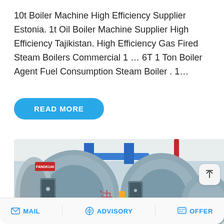10t Boiler Machine High Efficiency Supplier Estonia. 1t Oil Boiler Machine Supplier High Efficiency Tajikistan. High Efficiency Gas Fired Steam Boilers Commercial 1 … 6T 1 Ton Boiler Agent Fuel Consumption Steam Boiler . 1…
[Figure (other): READ MORE button — blue rounded rectangle with white bold text]
[Figure (photo): Industrial boiler machines in a factory. Several large cylindrical horizontal boilers (FANGKUAI brand) with yellow pipes, red pipes, blue overhead structure, and wall-mounted control units visible. WhatsApp 'Save Stickers' overlay bar visible at the bottom with two app icons.]
MAIL   ADVISORY   OFFER